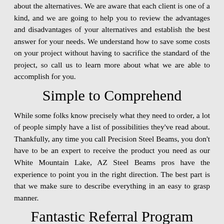about the alternatives. We are aware that each client is one of a kind, and we are going to help you to review the advantages and disadvantages of your alternatives and establish the best answer for your needs. We understand how to save some costs on your project without having to sacrifice the standard of the project, so call us to learn more about what we are able to accomplish for you.
Simple to Comprehend
While some folks know precisely what they need to order, a lot of people simply have a list of possibilities they've read about. Thankfully, any time you call Precision Steel Beams, you don't have to be an expert to receive the product you need as our White Mountain Lake, AZ Steel Beams pros have the experience to point you in the right direction. The best part is that we make sure to describe everything in an easy to grasp manner.
Fantastic Referral Program
Every White Mountain Lake Steel Beams business knows just how much it costs to reach potential customers, and it's expensive. As a result, we do a wonderful job of rewarding